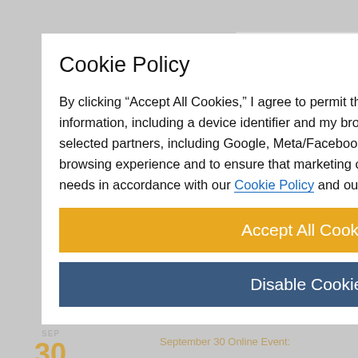CONTINUE READING
EVENTS
SEP
30
September 30 Online Event: Pitch
Global
SEP
30
September 30 Online Event: Professional Job Search Strategy Series —Branded Resume Basics
VIEW MORE
LATEST
Cookie Policy
By clicking “Accept All Cookies,” I agree to permit this website to share my information, including a device identifier and my browsing history on this site, with selected partners, including Google, Meta/Facebook and others, to enhance my browsing experience and to ensure that marketing communications are targeted to my needs in accordance with our Cookie Policy and our Privacy Policy.
Accept All Cookies
Disable Cookies